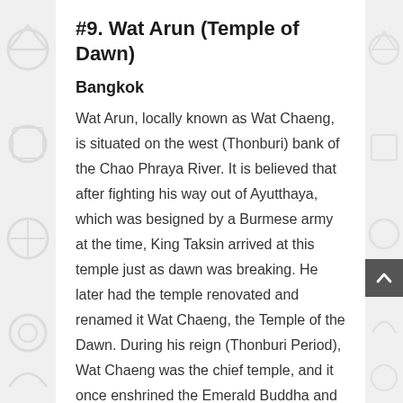#9. Wat Arun (Temple of Dawn)
Bangkok
Wat Arun, locally known as Wat Chaeng, is situated on the west (Thonburi) bank of the Chao Phraya River. It is believed that after fighting his way out of Ayutthaya, which was besigned by a Burmese army at the time, King Taksin arrived at this temple just as dawn was breaking. He later had the temple renovated and renamed it Wat Chaeng, the Temple of the Dawn. During his reign (Thonburi Period), Wat Chaeng was the chief temple, and it once enshrined the Emerald Buddha and another important